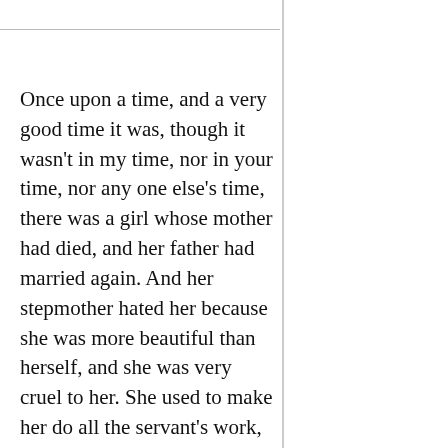Once upon a time, and a very good time it was, though it wasn't in my time, nor in your time, nor any one else's time, there was a girl whose mother had died, and her father had married again. And her stepmother hated her because she was more beautiful than herself, and she was very cruel to her. She used to make her do all the servant's work, and never let her have any peace. At last, one day, the stepmother